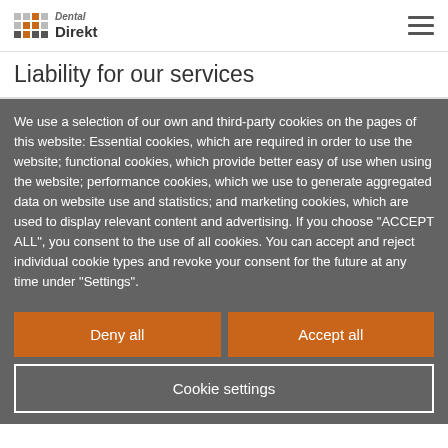Dental Direkt [logo] [hamburger menu]
Liability for our services
We use a selection of our own and third-party cookies on the pages of this website: Essential cookies, which are required in order to use the website; functional cookies, which provide better easy of use when using the website; performance cookies, which we use to generate aggregated data on website use and statistics; and marketing cookies, which are used to display relevant content and advertising. If you choose "ACCEPT ALL", you consent to the use of all cookies. You can accept and reject individual cookie types and revoke your consent for the future at any time under "Settings".
Deny all
Accept all
Cookie settings